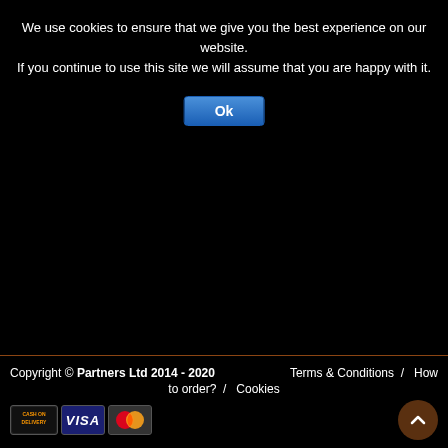We use cookies to ensure that we give you the best experience on our website. If you continue to use this site we will assume that you are happy with it.
[Figure (other): Ok button - blue rounded rectangle button with white text 'Ok']
Copyright © Partners Ltd 2014 - 2020  Terms & Conditions / How to order? / Cookies
[Figure (other): Payment icons: Cash on Delivery, Visa, Mastercard]
[Figure (other): Scroll to top button - brown circle with upward chevron]